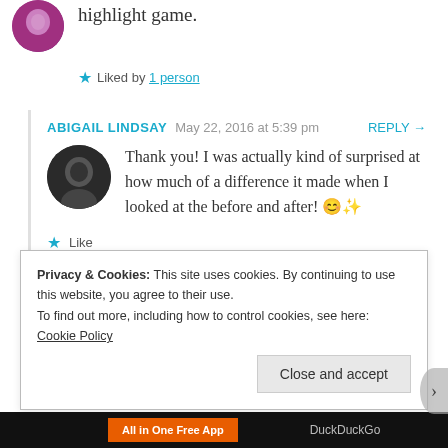highlight game.
★ Liked by 1 person
ABIGAIL LINDSAY   May 22, 2016 at 5:39 pm   REPLY →
Thank you! I was actually kind of surprised at how much of a difference it made when I looked at the before and after! 😊✨
★ Like
Privacy & Cookies: This site uses cookies. By continuing to use this website, you agree to their use. To find out more, including how to control cookies, see here: Cookie Policy
Close and accept